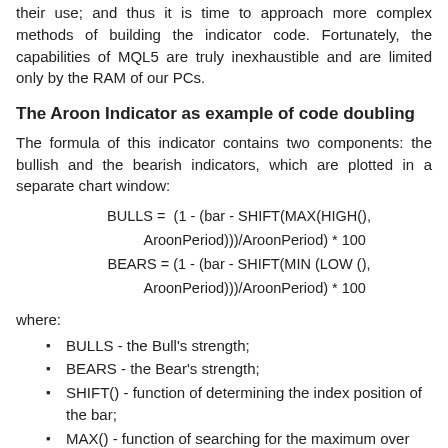their use; and thus it is time to approach more complex methods of building the indicator code. Fortunately, the capabilities of MQL5 are truly inexhaustible and are limited only by the RAM of our PCs.
The Aroon Indicator as example of code doubling
The formula of this indicator contains two components: the bullish and the bearish indicators, which are plotted in a separate chart window:
where:
BULLS - the Bull's strength;
BEARS - the Bear's strength;
SHIFT() - function of determining the index position of the bar;
MAX() - function of searching for the maximum over the AroonPeriod period;
MIN() - function of searching for the minimum over the